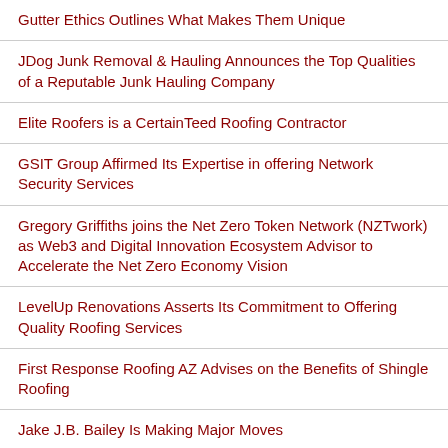Gutter Ethics Outlines What Makes Them Unique
JDog Junk Removal & Hauling Announces the Top Qualities of a Reputable Junk Hauling Company
Elite Roofers is a CertainTeed Roofing Contractor
GSIT Group Affirmed Its Expertise in offering Network Security Services
Gregory Griffiths joins the Net Zero Token Network (NZTwork) as Web3 and Digital Innovation Ecosystem Advisor to Accelerate the Net Zero Economy Vision
LevelUp Renovations Asserts Its Commitment to Offering Quality Roofing Services
First Response Roofing AZ Advises on the Benefits of Shingle Roofing
Jake J.B. Bailey Is Making Major Moves